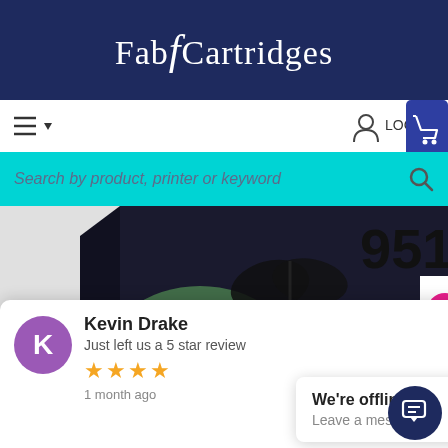Fab4Cartridges
[Figure (screenshot): Navigation bar with hamburger menu, LOGIN button, and shopping cart icon]
Search by product, printer or keyword
[Figure (photo): HP 951XL magenta ink cartridge product box with frog graphic]
idge Genuine
Kevin Drake
Just left us a 5 star review
1 month ago
We're offline
Leave a message